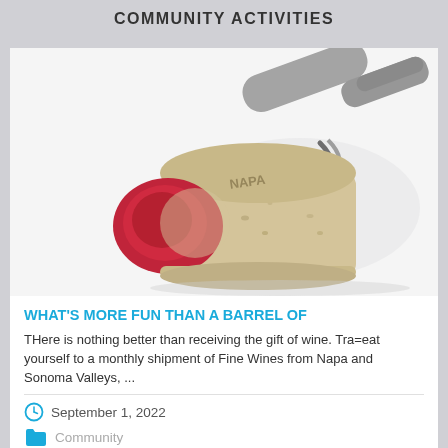COMMUNITY ACTIVITIES
[Figure (photo): A wine cork with red wine stain on the end and 'NAPA' printed on it, with a corkscrew in the background on a white surface.]
WHAT'S MORE FUN THAN A BARREL OF
THere is nothing better than receiving the gift of wine. Tra=eat yourself to a monthly shipment of Fine Wines from Napa and Sonoma Valleys, ...
September 1, 2022
Community